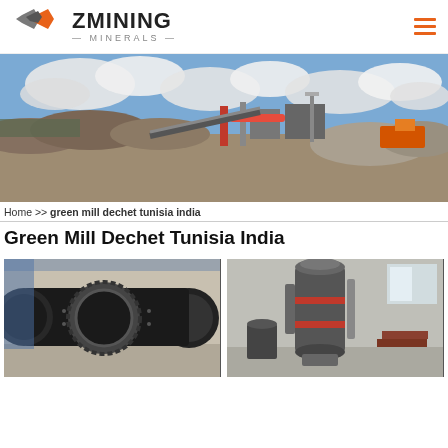[Figure (logo): ZMining Minerals logo with geometric chain-link icon in orange and gray, company name ZMINING MINERALS]
[Figure (photo): Wide panoramic photo of an open-pit mining/quarrying site with heavy machinery, conveyor belts, processing equipment, and mounds of excavated earth under a cloudy blue sky]
Home >> green mill dechet tunisia india
Green Mill Dechet Tunisia India
[Figure (photo): Close-up photo of a large industrial ball mill machine with gear ring, black cylindrical body, in a warehouse setting]
[Figure (photo): Photo of a tall vertical grinding mill machine (gray with red accents) inside an industrial building/factory]